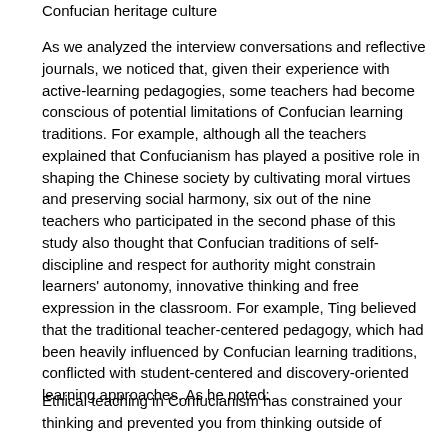Confucian heritage culture
As we analyzed the interview conversations and reflective journals, we noticed that, given their experience with active-learning pedagogies, some teachers had become conscious of potential limitations of Confucian learning traditions. For example, although all the teachers explained that Confucianism has played a positive role in shaping the Chinese society by cultivating moral virtues and preserving social harmony, six out of the nine teachers who participated in the second phase of this study also thought that Confucian traditions of self-discipline and respect for authority might constrain learners' autonomy, innovative thinking and free expression in the classroom. For example, Ting believed that the traditional teacher-centered pedagogy, which had been heavily influenced by Confucian learning traditions, conflicted with student-centered and discovery-oriented learning approaches. As he noted:
Ethical teaching in Confucianism has constrained your thinking and prevented you from thinking outside of